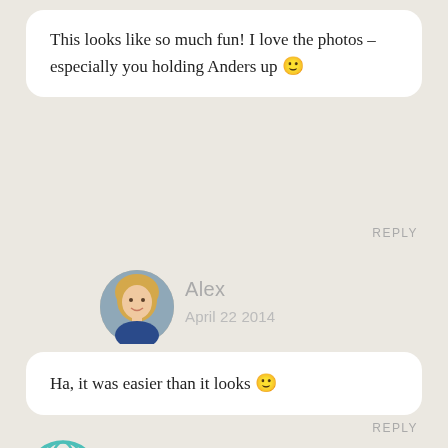This looks like so much fun! I love the photos – especially you holding Anders up 🙂
REPLY
Alex
April 22 2014
Ha, it was easier than it looks 🙂
REPLY
MCVK
April 22 2014